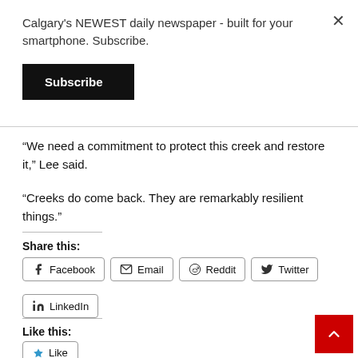Calgary's NEWEST daily newspaper - built for your smartphone. Subscribe.
Subscribe
“We need a commitment to protect this creek and restore it,” Lee said.
“Creeks do come back. They are remarkably resilient things.”
Share this:
Facebook
Email
Reddit
Twitter
LinkedIn
Like this:
Like